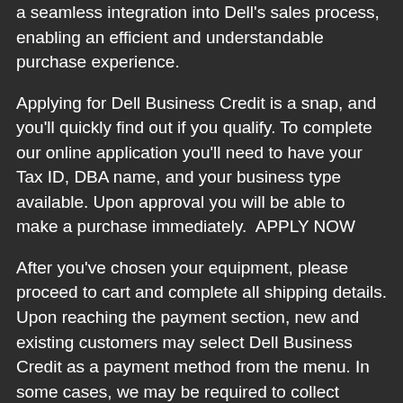a seamless integration into Dell's sales process, enabling an efficient and understandable purchase experience.
Applying for Dell Business Credit is a snap, and you'll quickly find out if you qualify. To complete our online application you'll need to have your Tax ID, DBA name, and your business type available. Upon approval you will be able to make a purchase immediately.  APPLY NOW
After you've chosen your equipment, please proceed to cart and complete all shipping details. Upon reaching the payment section, new and existing customers may select Dell Business Credit as a payment method from the menu. In some cases, we may be required to collect Beneficial Ownership